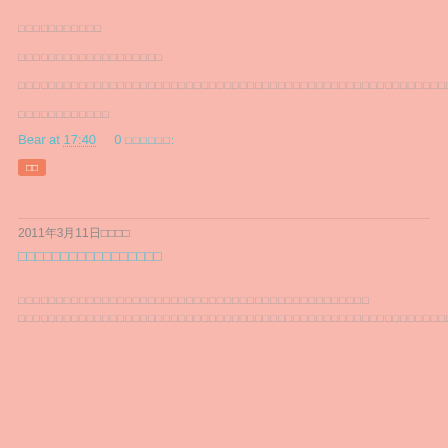□□□□□□□□□□□
□□□□□□□□□□□□□□□□□□□
□□□□□□□□□□□□□□□□□□□□□□□□□□□□□□□□□□□□□□□□□□□□□□□□□□□□□□□□□□□□□□□□□□□□□□□□□□□□□□□□□□□□□□□□□□□□□□□□□□□□□□□□□□□□□□□□□□□□□□□□□□□□□□□□□□□□□□□□□□□□□□□□□□□□□□□□□□□□□□□□□□□□□□□□□□□□□□□□□□□□□□□□□□□□□□□□□□□□□□□□□□□□□□□□□□□□□□□□□□□□□□□□□□□□□□□□□□□□□□□□
□□□□□□□□□□□□
Bear at 17:40   0 □□□□□□:
□□
2011年3月11日□□□□
□□□□□□□□□□□□□□□□□
□□□□□□□□□□□□□□□□□□□□□□□□□□□□□□□□□□□□□□□□□□□□□□ □□□□□□□□□□□□□□□□□□□□□□□□□□□□□□□□□□□□□□□□□□□□□□□□□□□□□□□□□□□□□□□□□□□□□□□□□□□□□□□□□□□□□□□□□□□□□□□□□□□□□□□□□□□□□□□□□□□□□□□□□□□□□□□□□□□□□□□□□□□□□□□□□□□□□□□□□□□□□□□□□□□□□□□□□□□□□□□□□□□□□□□□□□□□□□□□□□□□□□□□□□□□□□□□□□□□□□□□□□□□□□□□□□□□□□□□□□□□□□□□□□□□□□□□□□□□□□□□□□□□□□□□□□□□□□□□□□□□□□□□□